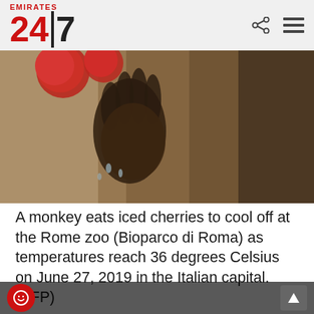Emirates 24|7
[Figure (photo): Close-up photo of a monkey holding and eating red iced cherries, with fur visible in the background]
A monkey eats iced cherries to cool off at the Rome zoo (Bioparco di Roma) as temperatures reach 36 degrees Celsius on June 27, 2019 in the Italian capital. (AFP)
[Figure (photo): A person in a colorful yellow and red traditional costume performing at what appears to be an Italian street festival, with a crowd of spectators in the background]